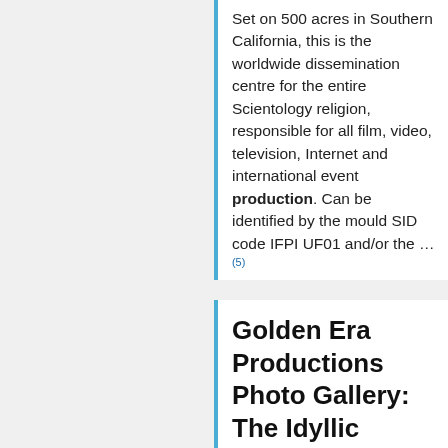Set on 500 acres in Southern California, this is the worldwide dissemination centre for the entire Scientology religion, responsible for all film, video, television, Internet and international event production. Can be identified by the mould SID code IFPI UF01 and/or the …(5)
Golden Era Productions Photo Gallery: The Idyllic World Ron Miscavige …